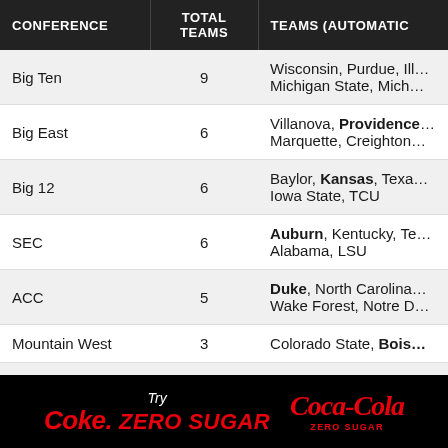| CONFERENCE | TOTAL TEAMS | TEAMS (AUTOMATIC… |
| --- | --- | --- |
| Big Ten | 9 | Wisconsin, Purdue, Ill… Michigan State, Mich… |
| Big East | 6 | Villanova, Providence… Marquette, Creighton… |
| Big 12 | 6 | Baylor, Kansas, Texa… Iowa State, TCU |
| SEC | 6 | Auburn, Kentucky, Te… Alabama, LSU |
| ACC | 5 | Duke, North Carolina… Wake Forest, Notre D… |
| Mountain West | 3 | Colorado State, Bois… |
| Pac-12 | 3 | Arizona, UCLA, South… |
[Figure (logo): Coca-Cola Zero Sugar advertisement banner at the bottom of the page. Black background with 'Try Coke Zero Sugar' text in white and red, and the Coca-Cola Zero Sugar logo.]